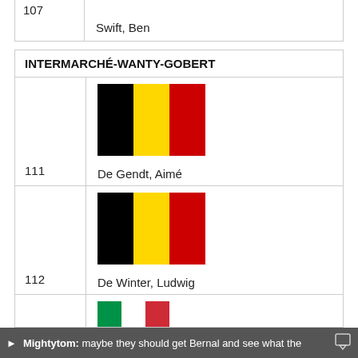| # | Rider |
| --- | --- |
| 107 | Swift, Ben |
INTERMARCHÉ-WANTY-GOBERT
| # | Rider |
| --- | --- |
| 111 | De Gendt, Aimé |
| 112 | De Winter, Ludwig |
| 113 |  |
Mightytom: maybe they should get Bernal and see what the